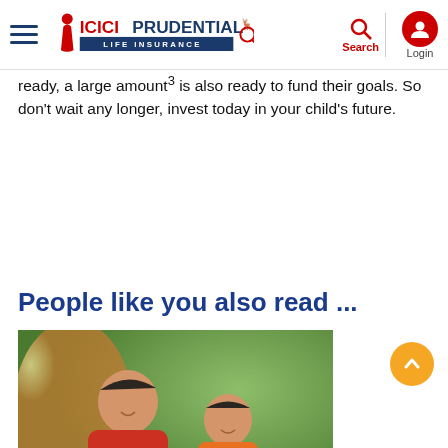ICICI Prudential Life Insurance — Navigation bar with hamburger menu, logo, search, and login
ready, a large amount³ is also ready to fund their goals. So don't wait any longer, invest today in your child's future.
CHECK PREMIUM
People like you also read ...
[Figure (photo): A smiling father in a red shirt sitting on a sofa with his young son in an orange shirt, both looking at coins being placed into a glass jar, warm indoor setting with soft background lighting.]